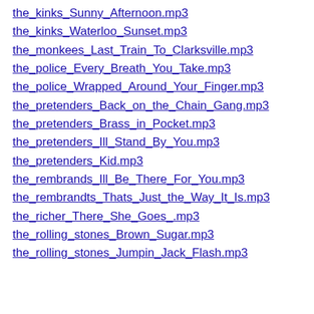the_kinks_Sunny_Afternoon.mp3
the_kinks_Waterloo_Sunset.mp3
the_monkees_Last_Train_To_Clarksville.mp3
the_police_Every_Breath_You_Take.mp3
the_police_Wrapped_Around_Your_Finger.mp3
the_pretenders_Back_on_the_Chain_Gang.mp3
the_pretenders_Brass_in_Pocket.mp3
the_pretenders_Ill_Stand_By_You.mp3
the_pretenders_Kid.mp3
the_rembrands_Ill_Be_There_For_You.mp3
the_rembrandts_Thats_Just_the_Way_It_Is.mp3
the_richer_There_She_Goes_.mp3
the_rolling_stones_Brown_Sugar.mp3
the_rolling_stones_Jumpin_Jack_Flash.mp3